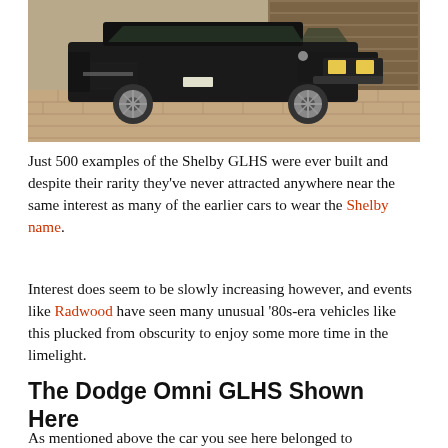[Figure (photo): Black Shelby GLHS (Dodge Omni) car parked on a brick-paved driveway in front of a wooden garage door. The car is viewed from the front-left angle, showing its boxy 1980s hatchback styling.]
Just 500 examples of the Shelby GLHS were ever built and despite their rarity they've never attracted anywhere near the same interest as many of the earlier cars to wear the Shelby name.
Interest does seem to be slowly increasing however, and events like Radwood have seen many unusual '80s-era vehicles like this plucked from obscurity to enjoy some more time in the limelight.
The Dodge Omni GLHS Shown Here
As mentioned above the car you see here belonged to